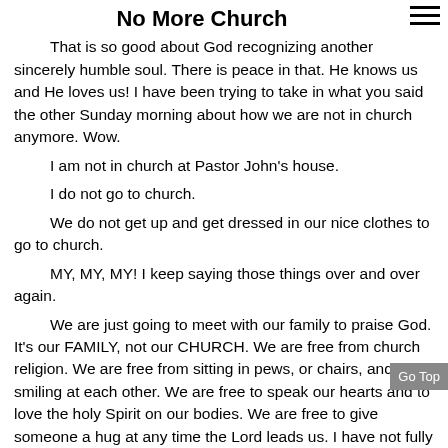No More Church
That is so good about God recognizing another sincerely humble soul. There is peace in that. He knows us and He loves us! I have been trying to take in what you said the other Sunday morning about how we are not in church anymore. Wow.
I am not in church at Pastor John's house.
I do not go to church.
We do not get up and get dressed in our nice clothes to go to church.
MY, MY, MY! I keep saying those things over and over again.
We are just going to meet with our family to praise God. It’s our FAMILY, not our CHURCH. We are free from church religion. We are free from sitting in pews, or chairs, and smiling at each other. We are free to speak our hearts and to love the holy Spirit on our bodies. We are free to give someone a hug at any time the Lord leads us. I have not fully taken that into my heart. There is so much pride in